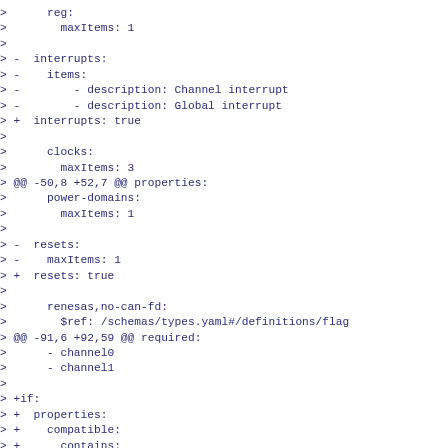>      reg:
>        maxItems: 1
>
> -  interrupts:
> -    items:
> -        - description: Channel interrupt
> -        - description: Global interrupt
> +  interrupts: true
>
>      clocks:
>        maxItems: 3
> @@ -50,8 +52,7 @@ properties:
>      power-domains:
>        maxItems: 1
>
> -  resets:
> -    maxItems: 1
> +  resets: true
>
>      renesas,no-can-fd:
>        $ref: /schemas/types.yaml#/definitions/flag
> @@ -91,6 +92,59 @@ required:
>      - channel0
>      - channel1
>
> +if:
> +  properties:
> +    compatible:
> +      contains:
> +        enum: